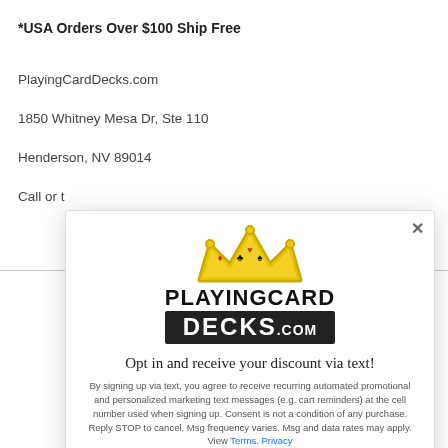*USA Orders Over $100 Ship Free
PlayingCardDecks.com
1850 Whitney Mesa Dr, Ste 110
Henderson, NV 89014
Call or t...
[Figure (illustration): PlayingCardDecks.com popup modal with crown logo, opt-in text offer, and 'TAP FOR 10% OFF*' button]
Opt in and receive your discount via text!
By signing up via text, you agree to receive recurring automated promotional and personalized marketing text messages (e.g. cart reminders) at the cell number used when signing up. Consent is not a condition of any purchase. Reply STOP to cancel. Msg frequency varies. Msg and data rates may apply. View Terms. Privacy
TAP FOR 10% OFF*